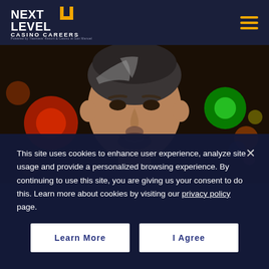[Figure (logo): Next Level Casino Careers logo with orange square icon and hamburger menu icon in dark navy header]
[Figure (photo): Professional headshot of a smiling man with gray-streaked hair and beard in dark casino environment with colorful bokeh lights (red, green) in background]
This site uses cookies to enhance user experience, analyze site usage and provide a personalized browsing experience. By continuing to use this site, you are giving us your consent to do this. Learn more about cookies by visiting our privacy policy page.
Learn More
I Agree